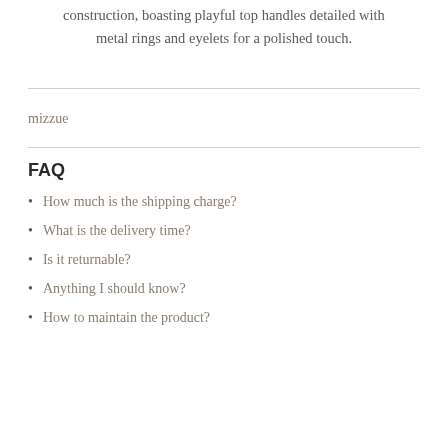crossbody bag flaunts contemporary art with its intricate construction, boasting playful top handles detailed with metal rings and eyelets for a polished touch.
mizzue
FAQ
How much is the shipping charge?
What is the delivery time?
Is it returnable?
Anything I should know?
How to maintain the product?